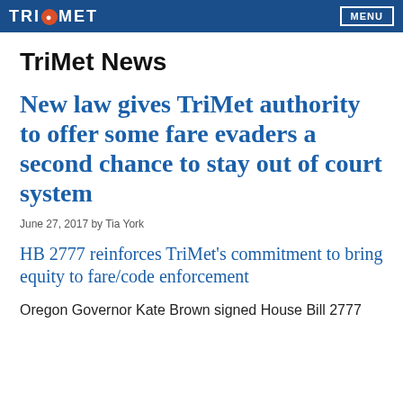TriMet — MENU
TriMet News
New law gives TriMet authority to offer some fare evaders a second chance to stay out of court system
June 27, 2017 by Tia York
HB 2777 reinforces TriMet's commitment to bring equity to fare/code enforcement
Oregon Governor Kate Brown signed House Bill 2777